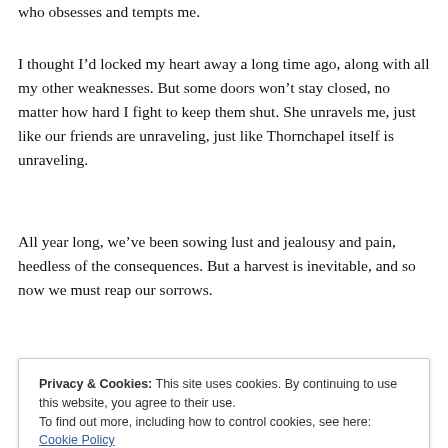who obsesses and tempts me.
I thought I’d locked my heart away a long time ago, along with all my other weaknesses. But some doors won’t stay closed, no matter how hard I fight to keep them shut. She unravels me, just like our friends are unraveling, just like Thornchapel itself is unraveling.
All year long, we’ve been sowing lust and jealousy and pain, heedless of the consequences. But a harvest is inevitable, and so now we must reap our sorrows.
And now with...
Privacy & Cookies: This site uses cookies. By continuing to use this website, you agree to their use.
To find out more, including how to control cookies, see here: Cookie Policy
[Close and accept]